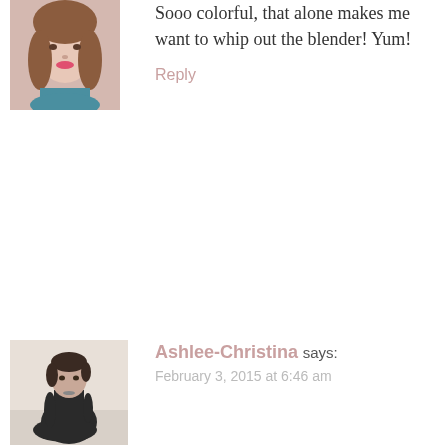[Figure (photo): Portrait photo of a woman with brown hair, smiling, wearing a teal top]
Sooo colorful, that alone makes me want to whip out the blender! Yum!
Reply
[Figure (photo): Black and white photo of a woman sitting, wearing all black clothing]
Ashlee-Christina says: February 3, 2015 at 6:46 am
I just discovered your blog and I am IN LOVE. Please check out mine and tell me what you think (i'm a newbie) https://accordingtoashlee.wordpress.com/intro-to-visual-the-wishlist/
Reply